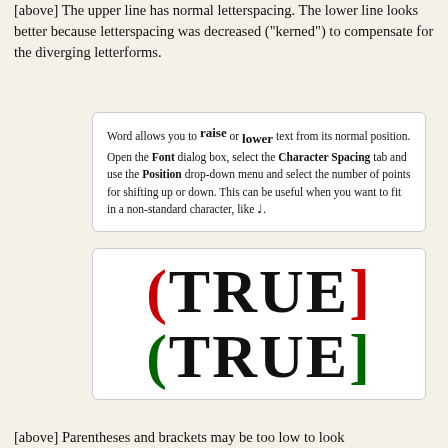[above] The upper line has normal letterspacing. The lower line looks better because letterspacing was decreased ("kerned") to compensate for the diverging letterforms.
Word allows you to raise or lower text from its normal position. Open the Font dialog box, select the Character Spacing tab and use the Position drop-down menu and select the number of points for shifting up or down. This can be useful when you want to fit in a non-standard character, like ♩.
[Figure (illustration): Two lines of text showing (TRUE] — the top line with a red opening parenthesis and red closing bracket, the bottom line with a green opening parenthesis and green closing bracket, demonstrating kerning of bracket characters.]
[above] Parentheses and brackets may be too low to look